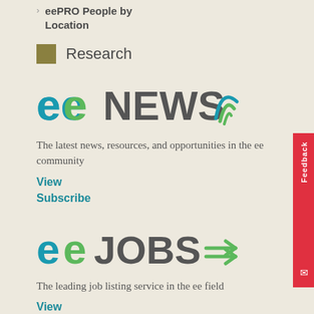eePRO People by Location
Research
[Figure (logo): eeNEWS logo with green 'ee' letters and dark gray 'NEWS' text with a wifi/signal icon]
The latest news, resources, and opportunities in the ee community
View
Subscribe
[Figure (logo): eeJOBS logo with green 'ee' letters and dark gray 'JOBS' text with double arrow icon]
The leading job listing service in the ee field
View
Subscribe
[Figure (logo): eeLEARN logo partially visible at bottom]